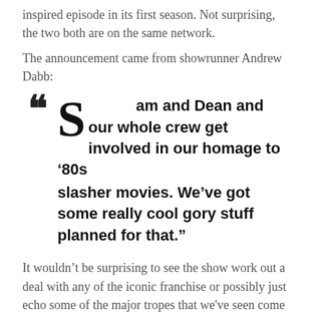inspired episode in its first season. Not surprising, the two both are on the same network.
The announcement came from showrunner Andrew Dabb:
“Sam and Dean and our whole crew get involved in our homage to ’80s slasher movies. We’ve got some really cool gory stuff planned for that.”
It wouldn’t be surprising to see the show work out a deal with any of the iconic franchise or possibly just echo some of the major tropes that we've seen come from ‘Friday the 13th’, ‘Nightmare on Elm Street,’ ‘Halloween,’ and more! With Dean not being a central focus of the upcoming season, this is just another way that we’re seeing the cast and crew trying to not only break the mold and keep the